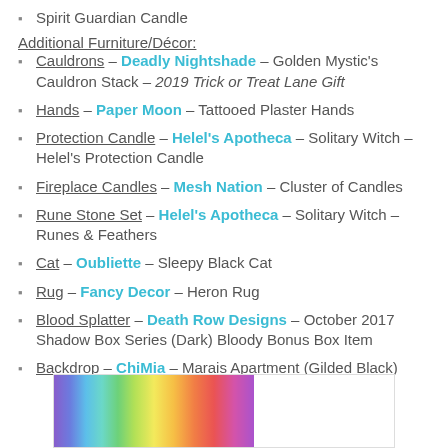Spirit Guardian Candle
Additional Furniture/Décor:
Cauldrons – Deadly Nightshade – Golden Mystic's Cauldron Stack – 2019 Trick or Treat Lane Gift
Hands – Paper Moon – Tattooed Plaster Hands
Protection Candle – Helel's Apotheca – Solitary Witch – Helel's Protection Candle
Fireplace Candles – Mesh Nation – Cluster of Candles
Rune Stone Set – Helel's Apotheca – Solitary Witch – Runes & Feathers
Cat – Oubliette – Sleepy Black Cat
Rug – Fancy Decor – Heron Rug
Blood Splatter – Death Row Designs – October 2017 Shadow Box Series (Dark) Bloody Bonus Box Item
Backdrop – ChiMia – Marais Apartment (Gilded Black)
[Figure (photo): Rainbow gradient colored strip image at the bottom of the page]